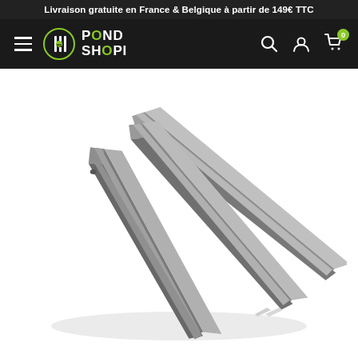Livraison gratuite en France & Belgique à partir de 149€ TTC
[Figure (logo): Pond Shopi logo with navigation bar including hamburger menu, search, account, and cart icons on dark background]
[Figure (photo): Three grey plastic garden stakes / pegs fanned out on white background, pointing diagonally toward bottom-right, with U-channel profile visible]